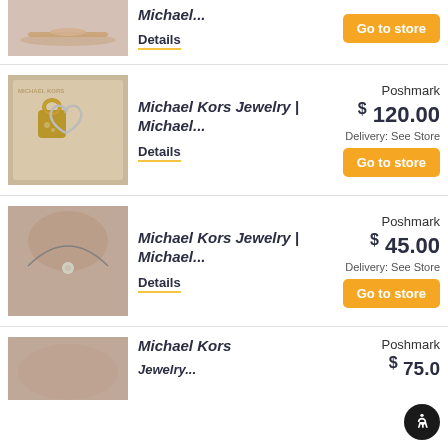[Figure (photo): Partial top product image - rose gold necklace bar]
Michael...
Details
Go to store
[Figure (photo): Michael Kors lock and heart charm necklace on branded box]
Michael Kors Jewelry | Michael...
Details
Poshmark
$ 120.00
Delivery: See Store
Go to store
[Figure (photo): Michael Kors pendant necklace on mannequin neck]
Michael Kors Jewelry | Michael...
Details
Poshmark
$ 45.00
Delivery: See Store
Go to store
[Figure (photo): Partial bottom product - Michael Kors jewelry on wrist]
Michael Kors
Poshmark
$ 75.0